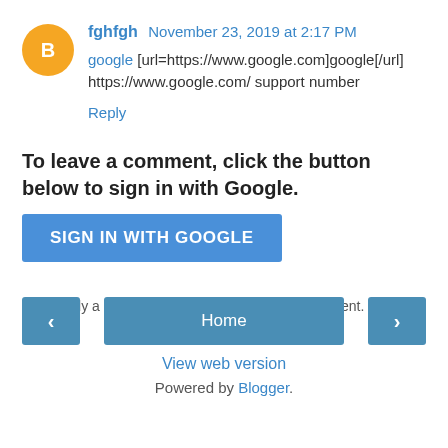fghfgh November 23, 2019 at 2:17 PM
google [url=https://www.google.com]google[/url]
https://www.google.com/ support number
Reply
To leave a comment, click the button below to sign in with Google.
SIGN IN WITH GOOGLE
Note: Only a member of this blog may post a comment.
< Home > View web version Powered by Blogger.